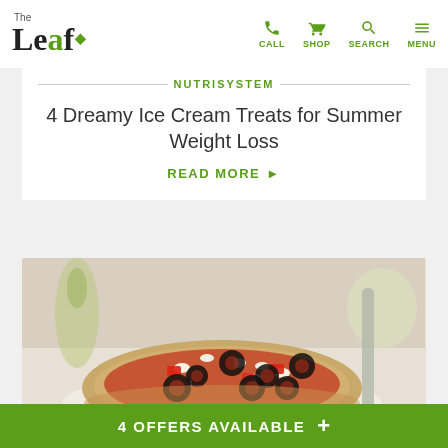The Leaf | CALL SHOP SEARCH MENU
NUTRISYSTEM
4 Dreamy Ice Cream Treats for Summer Weight Loss
READ MORE ▶
[Figure (photo): A flatbread mini pizza topped with red peppers, black olives, and crumbled white cheese, served on parchment paper with blurred background]
4 OFFERS AVAILABLE +